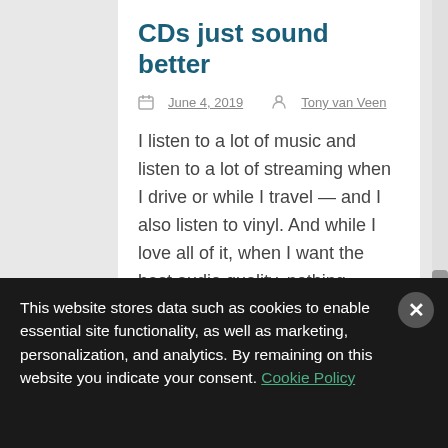CDs just sound better
June 4, 2019  Tony van Veen
I listen to a lot of music and listen to a lot of streaming when I drive or while I travel — and I also listen to vinyl. And while I love all of it, when I want the best audio quality, nothing sounds as good as a CD. Read the post.
This website stores data such as cookies to enable essential site functionality, as well as marketing, personalization, and analytics. By remaining on this website you indicate your consent. Cookie Policy